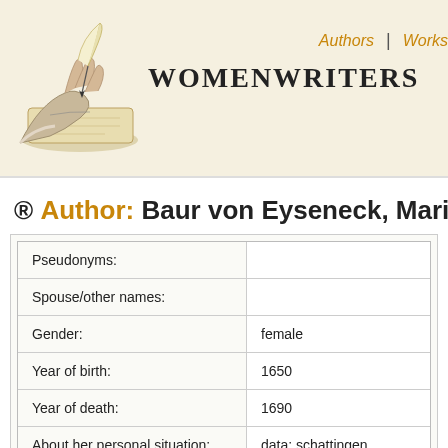[Figure (logo): WomenWriters website logo with hand holding quill pen illustration and site title text]
Authors | Works
® Author: Baur von Eyseneck, Maria J
| Field | Value |
| --- | --- |
| Pseudonyms: |  |
| Spouse/other names: |  |
| Gender: | female |
| Year of birth: | 1650 |
| Year of death: | 1690 |
| About her personal situation: | data: schattingen |